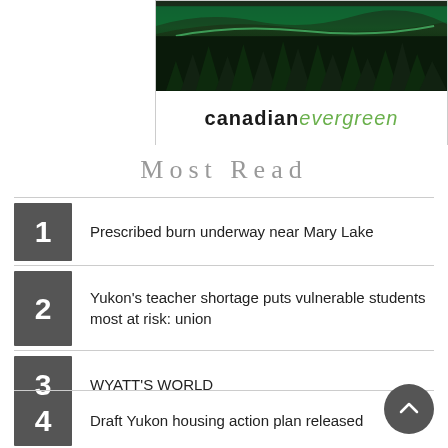[Figure (logo): Canadian Evergreen logo with aurora borealis and forest photo above text 'canadianevergreen']
Most Read
1 Prescribed burn underway near Mary Lake
2 Yukon’s teacher shortage puts vulnerable students most at risk: union
3 WYATT’S WORLD
4 Draft Yukon housing action plan released